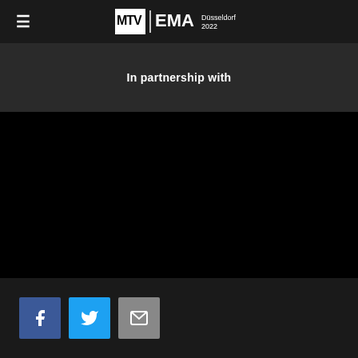≡  MTV EMA | Düsseldorf 2022
In partnership with
[Figure (other): Black content area, likely a video or image placeholder]
Social share buttons: Facebook, Twitter, Email